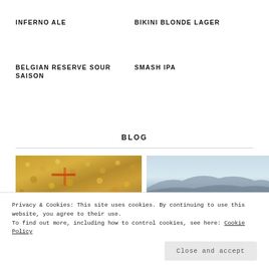INFERNO ALE
BIKINI BLONDE LAGER
BELGIAN RESERVE SOUR SAISON
SMASH IPA
BLOG
[Figure (photo): Close-up photo of brewing grains/hops with reddish elements]
[Figure (photo): Outdoor landscape photo with pale blue sky and mountain/hills silhouette]
Privacy & Cookies: This site uses cookies. By continuing to use this website, you agree to their use.
To find out more, including how to control cookies, see here: Cookie Policy
Close and accept
LOVER IN YOUR LIFE
KAMAKURA BEER